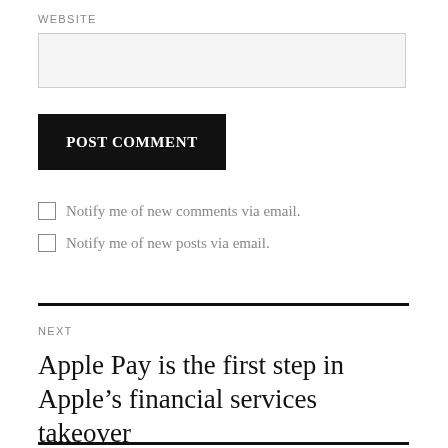WEBSITE
[input field]
POST COMMENT
Notify me of new comments via email.
Notify me of new posts via email.
NEXT
Apple Pay is the first step in Apple’s financial services takeover